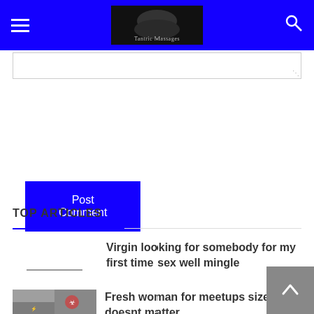Tantric Massages — site header with navigation
(textarea / comment input area)
Post Comment
TOP ARTICLES
Virgin looking for somebody for my first time sex well mingle
[Figure (photo): Thumbnail image placeholder for second article]
Fresh woman for meetups size doesnt matter